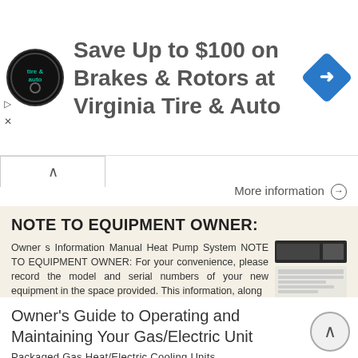[Figure (infographic): Advertisement banner: Virginia Tire & Auto logo (circular black logo), text 'Save Up to $100 on Brakes & Rotors at Virginia Tire & Auto', blue diamond navigation icon on right, play and close buttons on left]
More information →
NOTE TO EQUIPMENT OWNER:
Owner s Information Manual Heat Pump System NOTE TO EQUIPMENT OWNER: For your convenience, please record the model and serial numbers of your new equipment in the space provided. This information, along
More information →
Owner's Guide to Operating and Maintaining Your Gas/Electric Unit
Packaged Gas Heat/Electric Cooling Units